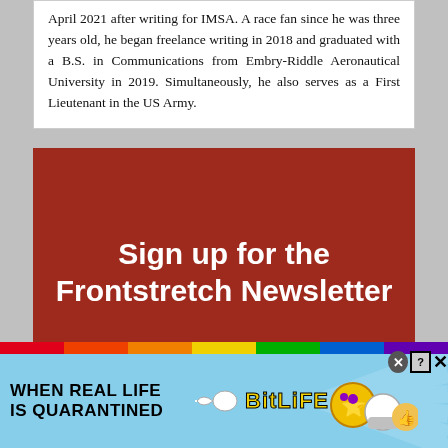April 2021 after writing for IMSA. A race fan since he was three years old, he began freelance writing in 2018 and graduated with a B.S. in Communications from Embry-Riddle Aeronautical University in 2019. Simultaneously, he also serves as a First Lieutenant in the US Army.
[Figure (infographic): Red rectangle banner with white bold text reading 'Sign up for the Frontstretch Newsletter']
[Figure (infographic): BitLife advertisement banner with rainbow strip, 'WHEN REAL LIFE IS QUARANTINED' text, sperm emoji, BitLife logo in yellow, and emoji characters. Has close X buttons in top right corner.]